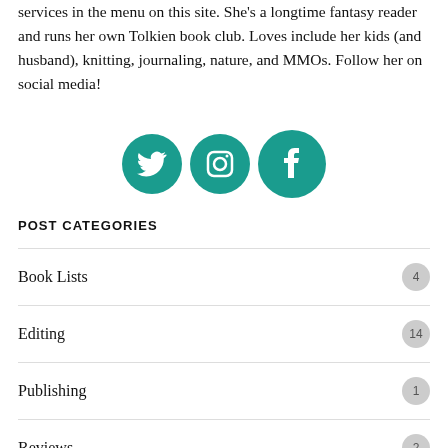services in the menu on this site. She's a longtime fantasy reader and runs her own Tolkien book club. Loves include her kids (and husband), knitting, journaling, nature, and MMOs. Follow her on social media!
[Figure (illustration): Three social media icons in teal circles: Twitter bird, Instagram camera, and Facebook logo]
POST CATEGORIES
Book Lists  4
Editing  14
Publishing  1
Reviews  2
Update  5